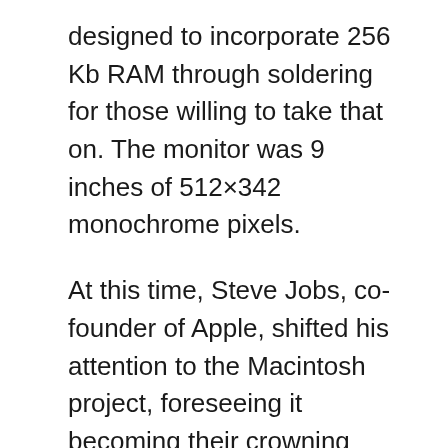designed to incorporate 256 Kb RAM through soldering for those willing to take that on. The monitor was 9 inches of 512×342 monochrome pixels.
At this time, Steve Jobs, co-founder of Apple, shifted his attention to the Macintosh project, foreseeing it becoming their crowning achievement. Raskin, who up until this point, had spearheaded the Macintosh project left the project when Jobs entered because of personality conflicts.
Upon its release, the Macintosh suffered a serious setback in the fact that 3rd party software manufacturers did not want to take on the time